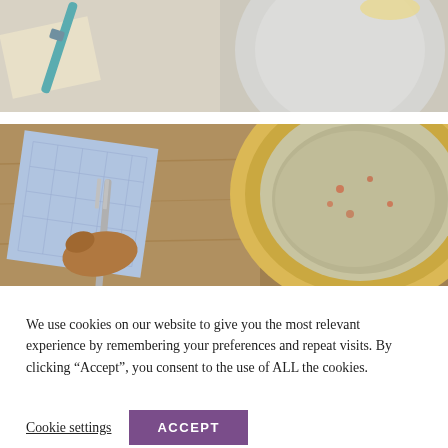[Figure (photo): Top-down view of a plate with pasta on a wooden surface, with a blue-green straw and napkin visible]
[Figure (photo): Top-down view of a bowl of soup or grain dish on a wooden surface, with a blue patterned napkin and fork held by a hand]
We use cookies on our website to give you the most relevant experience by remembering your preferences and repeat visits. By clicking “Accept”, you consent to the use of ALL the cookies.
Cookie settings
ACCEPT